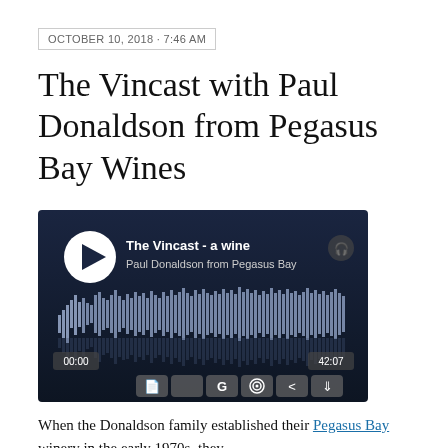OCTOBER 10, 2018 · 7:46 AM
The Vincast with Paul Donaldson from Pegasus Bay Wines
[Figure (screenshot): Audio player widget showing 'The Vincast - a wine / Paul Donaldson from Pegasus Bay' with waveform visualization, time stamps 00:00 and 42:07, play button, and service icons for podcast platforms]
When the Donaldson family established their Pegasus Bay winery in the early 1970s, they